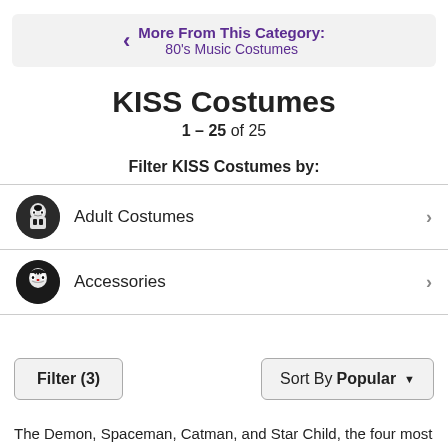More From This Category: 80's Music Costumes
KISS Costumes
1 – 25 of 25
Filter KISS Costumes by:
Adult Costumes
Accessories
Filter (3)   Sort By Popular
The Demon, Spaceman, Catman, and Star Child, the four most